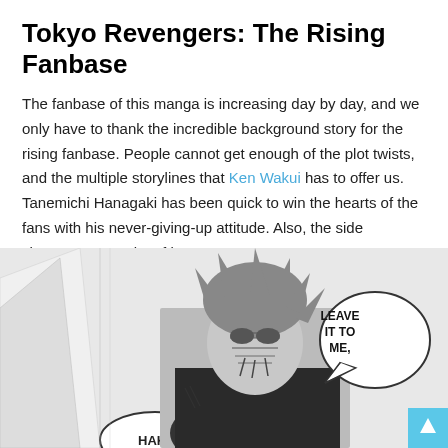Tokyo Revengers: The Rising Fanbase
The fanbase of this manga is increasing day by day, and we only have to thank the incredible background story for the rising fanbase. People cannot get enough of the plot twists, and the multiple storylines that Ken Wakui has to offer us. Tanemichi Hanagaki has been quick to win the hearts of the fans with his never-giving-up attitude. Also, the side characters get a lot of love.
[Figure (illustration): Manga panel from Tokyo Revengers showing a male character with messy hair and tattoos. A speech bubble says 'LEAVE IT TO ME,' and at the bottom another bubble shows 'HAK-'. The image is black and white manga art style.]